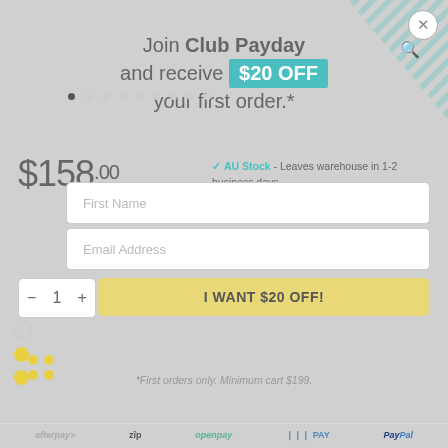Join Club Payday and receive $20 OFF your first order.*
$158.00
AU Stock - Leaves warehouse in 1-2 business days
FAST Shipping - Shipping info
First Name
Email Address
I WANT $20 OFF!
*First orders only. Minimum cart $199.
[Figure (logo): Payment method logos: afterpay, zip, openpay, PAY, PayPal]